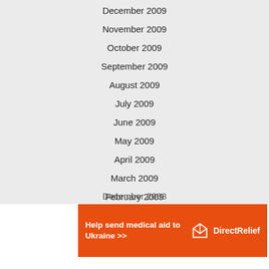December 2009
November 2009
October 2009
September 2009
August 2009
July 2009
June 2009
May 2009
April 2009
March 2009
February 2009
January 2009
December 2008
[Figure (infographic): Orange advertisement banner for Direct Relief: 'Help send medical aid to Ukraine >>' with Direct Relief logo on the right.]